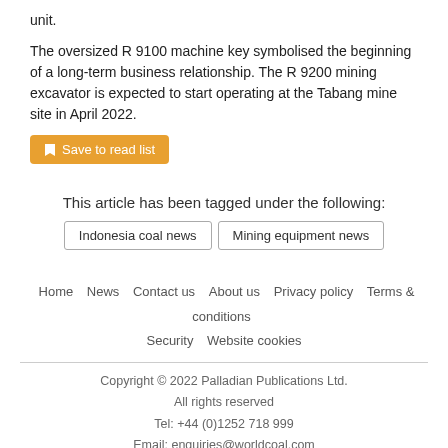unit.
The oversized R 9100 machine key symbolised the beginning of a long-term business relationship. The R 9200 mining excavator is expected to start operating at the Tabang mine site in April 2022.
Save to read list
This article has been tagged under the following:
Indonesia coal news
Mining equipment news
Home  News  Contact us  About us  Privacy policy  Terms & conditions  Security  Website cookies
Copyright © 2022 Palladian Publications Ltd.
All rights reserved
Tel: +44 (0)1252 718 999
Email: enquiries@worldcoal.com